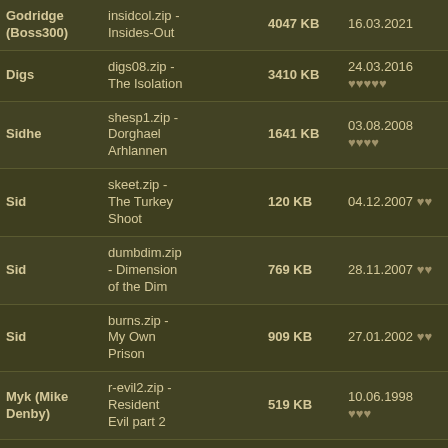| Author | File - Title | Size | Date | Rating | Num1 | Num2 |
| --- | --- | --- | --- | --- | --- | --- |
| Godridge (Boss300) | insidcol.zip - Insides-Out | 4047 KB | 16.03.2021 |  | 12 | 3 |
| Digs | digs08.zip - The Isolation | 3410 KB | 24.03.2016 | vvvvv | 16 | 3 |
| Sidhe | shesp1.zip - Dorghael Arhlannen | 1641 KB | 03.08.2008 | vvvv | 11 | 3 |
| Sid | skeet.zip - The Turkey Shoot | 120 KB | 04.12.2007 | vv | 3 | 2 |
| Sid | dumbdim.zip - Dimension of the Dim | 769 KB | 28.11.2007 | vv | 8 | 3 |
| Sid | burns.zip - My Own Prison | 909 KB | 27.01.2002 | vv | 5 | 2 |
| Myk (Mike Denby) | r-evil2.zip - Resident Evil part 2 | 519 KB | 10.06.1998 | vvv | 3 | 2 |
| Levelord | hipside.zip - Hipside | 461 KB | 20.03.1997 | vvvv | 15 | 3 |
| James Garrett | cotud.zip - City Of The Undead | 451 KB | 09.03.1997 | vv | 3 | 2 |